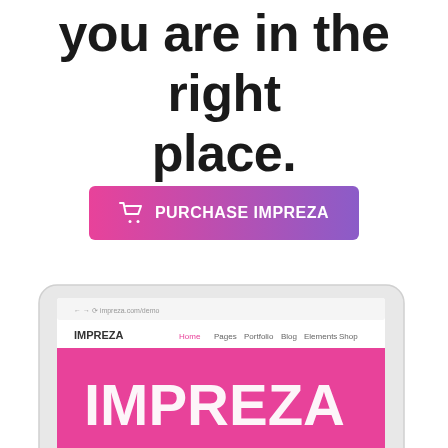you are in the right place.
[Figure (other): A pink-to-purple gradient button with a shopping cart icon and text PURCHASE IMPREZA]
[Figure (screenshot): A tablet device showing the Impreza WordPress theme website with a pink hero section displaying the word IMPREZA in large white letters, being touched by a hand/finger]